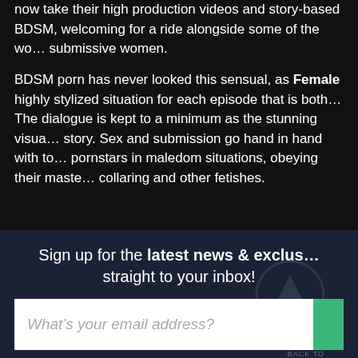now take their high production videos and story-based BDSM, welcoming for a ride alongside some of the world's most submissive women.
BDSM porn has never looked this sensual, as Female creates a highly stylized situation for each episode that is both... The dialogue is kept to a minimum as the stunning visuals tell the story. Sex and submission go hand in hand with top pornstars in maledom situations, obeying their masters in collaring and other fetishes.
Sign up for the latest news & exclusives straight to your inbox!
What’s your email address?
Great content, no spam, easy unsub...